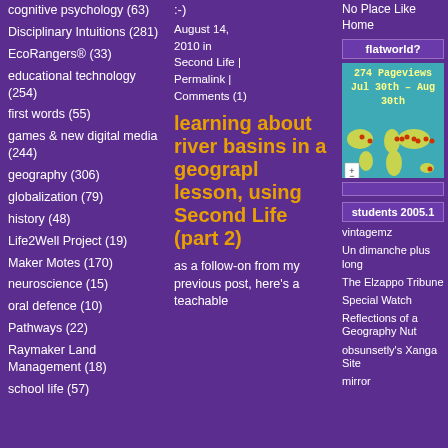cognitive psychology (63)
Disciplinary Intuitions (281)
EcoRangers® (33)
educational technology (254)
first words (55)
games & new digital media (244)
geography (306)
globalization (79)
history (48)
Life2Well Project (19)
Maker Motes (170)
neuroscience (15)
oral defence (10)
Pathways (22)
Raymaker Land Management (18)
school life (57)
:-)
August 14, 2010 in Second Life | Permalink | Comments (1)
learning about river basins in a geography lesson, using Second Life (part 2)
as a follow-on from my previous post, here's a teachable
No Place Like Home
[Figure (map): World map widget showing 274 Pageviews Jul 30th - Aug 30th with location markers]
flatworld?
students 2005.1
vintagemz
Un dimanche plus long
The Elzappo Tribune
Special Watch
Reflections of a Geography Nut
obsunsetly's Xanga Site
mirror